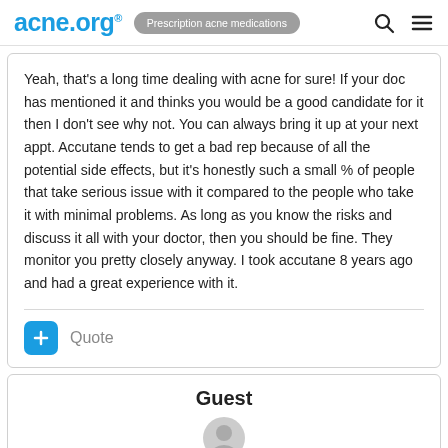acne.org® | Prescription acne medications
Yeah, that's a long time dealing with acne for sure! If your doc has mentioned it and thinks you would be a good candidate for it then I don't see why not. You can always bring it up at your next appt. Accutane tends to get a bad rep because of all the potential side effects, but it's honestly such a small % of people that take serious issue with it compared to the people who take it with minimal problems. As long as you know the risks and discuss it all with your doctor, then you should be fine. They monitor you pretty closely anyway. I took accutane 8 years ago and had a great experience with it.
+ Quote
Guest